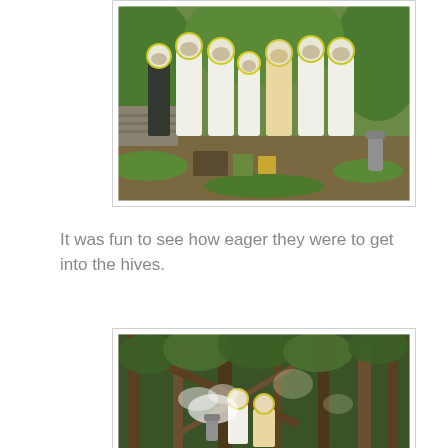[Figure (photo): Group of people in white beekeeping suits and veiled helmets standing together outdoors in a wooded garden area with beekeeping equipment on the ground]
It was fun to see how eager they were to get into the hives.
[Figure (photo): People in beekeeping suits working among dense trees and brush, with smoke visible, inspecting beehives]